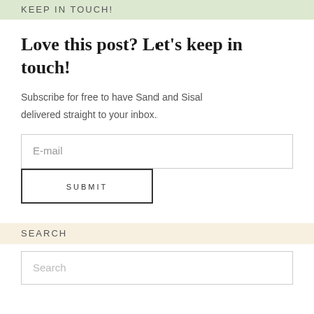KEEP IN TOUCH!
Love this post? Let's keep in touch!
Subscribe for free to have Sand and Sisal delivered straight to your inbox.
E-mail
SUBMIT
SEARCH
Search